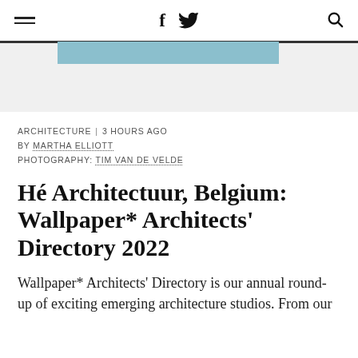≡  f  🐦  🔍
[Figure (screenshot): Banner with a light blue rectangle and horizontal lines on a light gray background]
ARCHITECTURE  |  3 HOURS AGO
BY MARTHA ELLIOTT
PHOTOGRAPHY: TIM VAN DE VELDE
Hé Architectuur, Belgium: Wallpaper* Architects' Directory 2022
Wallpaper* Architects' Directory is our annual round-up of exciting emerging architecture studios. From our